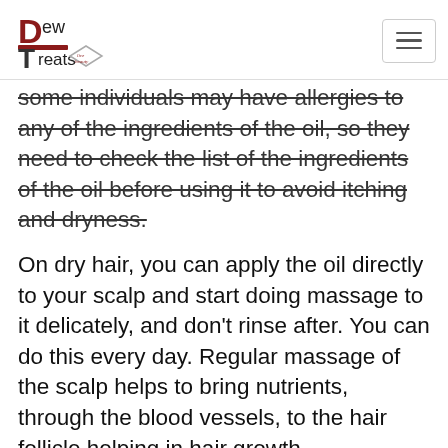Dew Treats [logo]
some individuals may have allergies to any of the ingredients of the oil, so they need to check the list of the ingredients of the oil before using it to avoid itching and dryness.
On dry hair, you can apply the oil directly to your scalp and start doing massage to it delicately, and don't rinse after. You can do this every day. Regular massage of the scalp helps to bring nutrients, through the blood vessels, to the hair follicle helping in hair growth.
It is better to use the oil in the morning as it is the time when the hair grows faster.